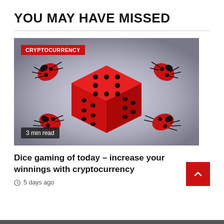YOU MAY HAVE MISSED
[Figure (photo): A large red dice surrounded by four red ladybirds on a grey reflective surface. A red CRYPTOCURRENCY badge is in the top-left corner; '3 min read' label in lower-left.]
Dice gaming of today – increase your winnings with cryptocurrency
5 days ago